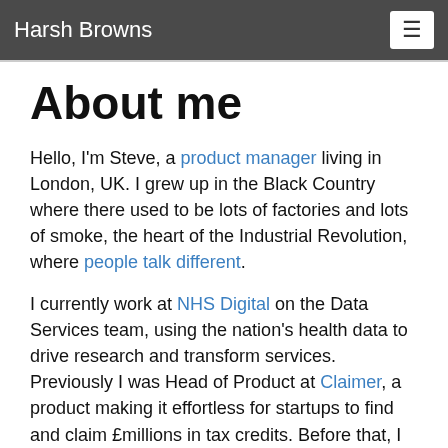Harsh Browns
About me
Hello, I'm Steve, a product manager living in London, UK. I grew up in the Black Country where there used to be lots of factories and lots of smoke, the heart of the Industrial Revolution, where people talk different.
I currently work at NHS Digital on the Data Services team, using the nation's health data to drive research and transform services. Previously I was Head of Product at Claimer, a product making it effortless for startups to find and claim £millions in tax credits. Before that, I worked at Government Digital Service (GDS) on GOV.UK Pay, a payments platform, and www.gov.uk, the UK government's